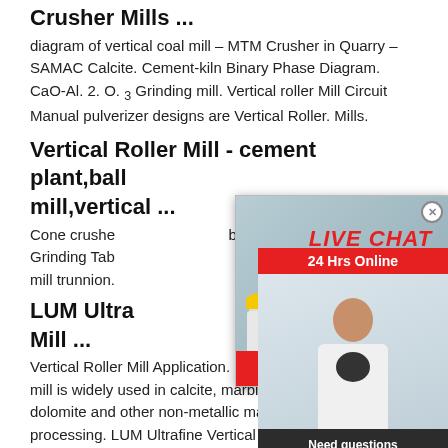Crusher Mills ...
diagram of vertical coal mill – MTM Crusher in Quarry – SAMAC Calcite. Cement-kiln Binary Phase Diagram. CaO-Al. 2. O. 3 Grinding mill. Vertical roller Mill Circuit Manual pulverizer designs are Vertical Roller. Mills.
Vertical Roller Mill - cement plant,ball mill,vertical ...
Cone crusher ... ball ... Grinding Tab ... mill trunnion ...
[Figure (photo): Live chat popup with workers in yellow helmets and overlay showing LIVE CHAT text with Chat now and Chat later buttons]
[Figure (photo): Support agent widget on right side showing woman with headset, 24 Hrs Online bar, Need questions & suggestion text, Chat Now button, and Enquire link]
LUM Ultra... Mill ...
Vertical Roller Mill Application. LUM ultra... mill is widely used in calcite, marble, lime... dolomite and other non-metallic massive... processing. LUM Ultrafine Vertical Roller... LUM has excellent grinding-efficiency for... design of roller shell and grinding plate cr...